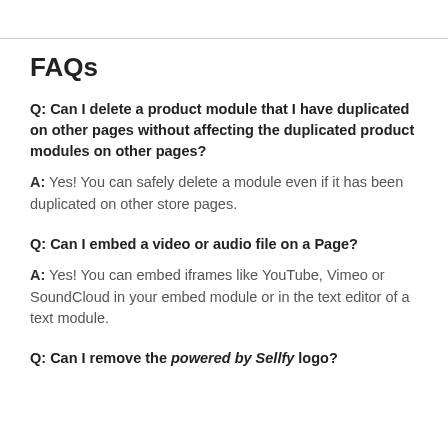FAQs
Q: Can I delete a product module that I have duplicated on other pages without affecting the duplicated product modules on other pages?
A: Yes! You can safely delete a module even if it has been duplicated on other store pages.
Q: Can I embed a video or audio file on a Page?
A: Yes! You can embed iframes like YouTube, Vimeo or SoundCloud in your embed module or in the text editor of a text module.
Q: Can I remove the powered by Sellfy logo?